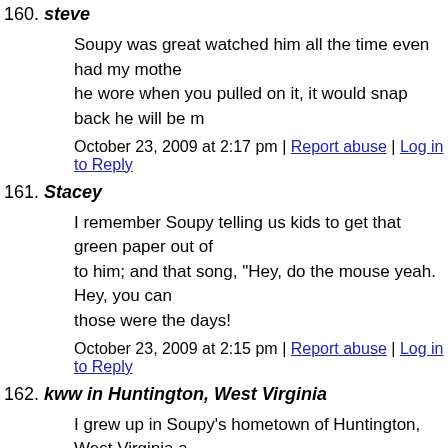160. steve
Soupy was great watched him all the time even had my mother he wore when you pulled on it, it would snap back he will be m
October 23, 2009 at 2:17 pm | Report abuse | Log in to Reply
161. Stacey
I remember Soupy telling us kids to get that green paper out of to him; and that song, "Hey, do the mouse yeah. Hey, you can those were the days!
October 23, 2009 at 2:15 pm | Report abuse | Log in to Reply
162. kww in Huntington, West Virginia
I grew up in Soupy's hometown of Huntington, West Virginia a several times. He was as nice and kind as he was funny. I reme Soupy Sales as a child & my parents telling me they'd gone to
I must ,however, disagree with those who remember Soupy tel and "baseball" jokes. He NEVER worked "blue" on television.
For the last 40 years, he had a standing offer of $10,000 to any those jokes. It's an urban myth. He said recently that he though on the street or in the school yard and repeated them to their pa angrily demanded where they had heard such stuff, the kids ha